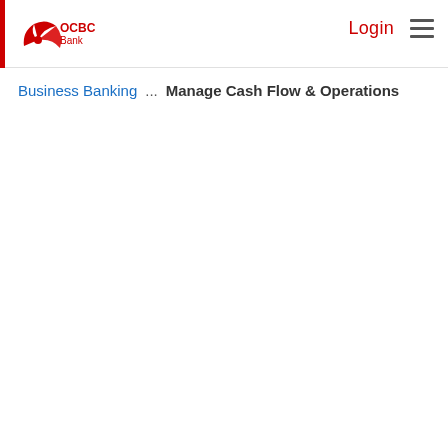OCBC Bank — Login | menu
Business Banking ... Manage Cash Flow & Operations